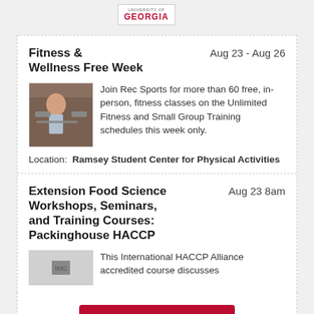[Figure (logo): University of Georgia logo/wordmark in red]
Fitness & Wellness Free Week
Aug 23 - Aug 26
[Figure (photo): Person exercising in a gym]
Join Rec Sports for more than 60 free, in-person, fitness classes on the Unlimited Fitness and Small Group Training schedules this week only.
Location:  Ramsey Student Center for Physical Activities
Extension Food Science Workshops, Seminars, and Training Courses: Packinghouse HACCP
Aug 23 8am
[Figure (photo): Thumbnail image related to food science/HACCP course]
This International HACCP Alliance accredited course discusses
More Events
Archives